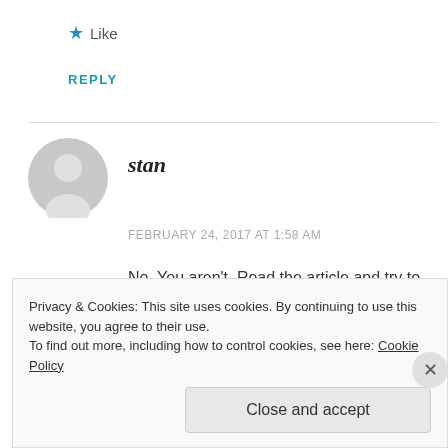★ Like
REPLY
stan
FEBRUARY 24, 2017 AT 1:58 AM
No, You aren't. Read the article and try to understand.
Privacy & Cookies: This site uses cookies. By continuing to use this website, you agree to their use.
To find out more, including how to control cookies, see here: Cookie Policy
Close and accept